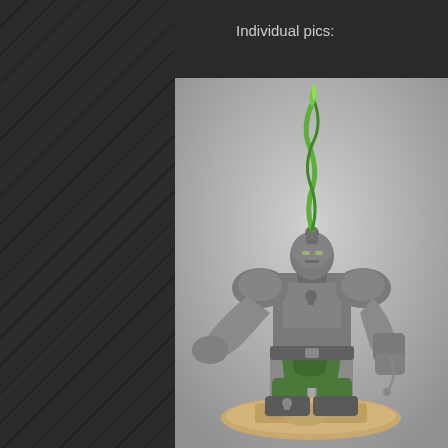Individual pics:
[Figure (photo): A Warhammer 40K Space Marine miniature figure, unpainted grey plastic/resin, with a green twisting flame/antenna rising from its helmet. The figure wears heavy power armour with skull decorations, has a green loincloth and green lower leg armour sections, and stands on a sandy/rocky base. The pose shows the figure with one arm outstretched.]